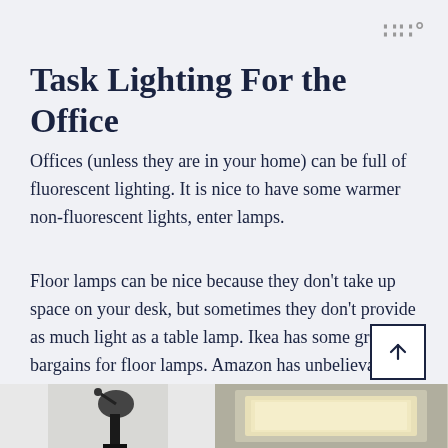III°
Task Lighting For the Office
Offices (unless they are in your home) can be full of fluorescent lighting. It is nice to have some warmer non-fluorescent lights, enter lamps.
Floor lamps can be nice because they don't take up space on your desk, but sometimes they don't provide as much light as a table lamp. Ikea has some great bargains for floor lamps. Amazon has unbelievable prices on basic table lamps.
[Figure (photo): Bottom portion of page showing two images: left image shows a dark desk lamp (partial, bottom of page), right image shows a lit table lamp with warm glow against a square background]
[Figure (other): Scroll-to-top button: square with upward arrow icon]